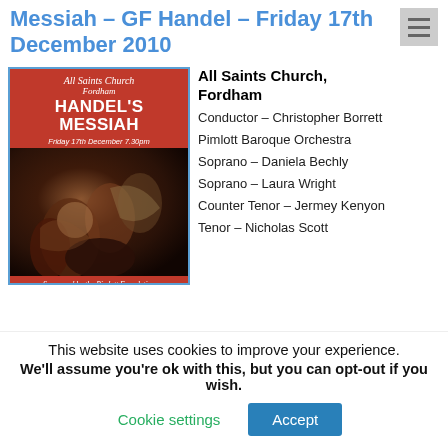Messiah – GF Handel – Friday 17th December 2010
[Figure (photo): Concert poster for Handel's Messiah at All Saints Church Fordham, Friday 17th December, featuring a dark Caravaggio-style painting of figures. Sponsored by the Pimlott Foundation, Conductor Christopher Borrett.]
All Saints Church, Fordham
Conductor – Christopher Borrett
Pimlott Baroque Orchestra
Soprano – Daniela Bechly
Soprano – Laura Wright
Counter Tenor – Jermey Kenyon
Tenor – Nicholas Scott
This website uses cookies to improve your experience. We'll assume you're ok with this, but you can opt-out if you wish.